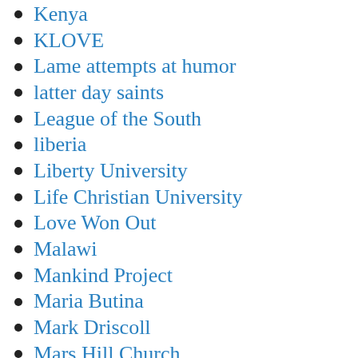Kenya
KLOVE
Lame attempts at humor
latter day saints
League of the South
liberia
Liberty University
Life Christian University
Love Won Out
Malawi
Mankind Project
Maria Butina
Mark Driscoll
Mars Hill Church
Media and society
mental health
movie scenes